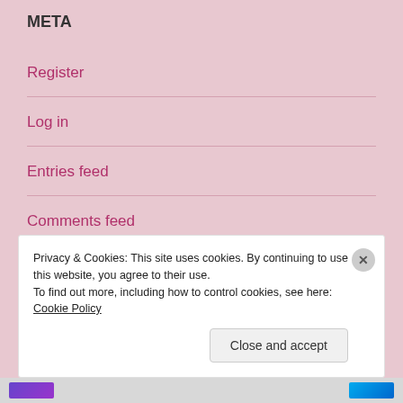META
Register
Log in
Entries feed
Comments feed
WordPress.com
Privacy & Cookies: This site uses cookies. By continuing to use this website, you agree to their use.
To find out more, including how to control cookies, see here: Cookie Policy
Close and accept